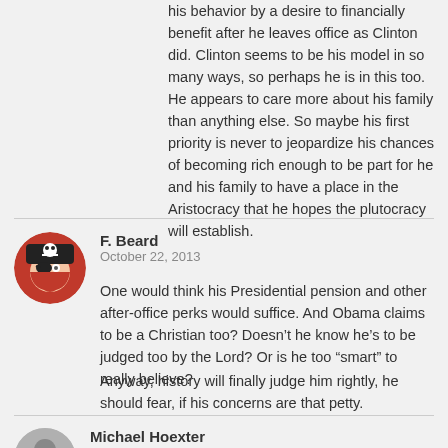his behavior by a desire to financially benefit after he leaves office as Clinton did. Clinton seems to be his model in so many ways, so perhaps he is in this too. He appears to care more about his family than anything else. So maybe his first priority is never to jeopardize his chances of becoming rich enough to be part for he and his family to have a place in the Aristocracy that he hopes the plutocracy will establish.
F. Beard
October 22, 2013

One would think his Presidential pension and other after-office perks would suffice. And Obama claims to be a Christian too? Doesn't he know he's to be judged too by the Lord? Or is he too “smart” to really believe?

Anyway, history will finally judge him rightly, he should fear, if his concerns are that petty.
Michael Hoexter
October 22, 2013

Joe,
Thanks! You are absolutely right that I overlooked that very important motivation, which I have thought about